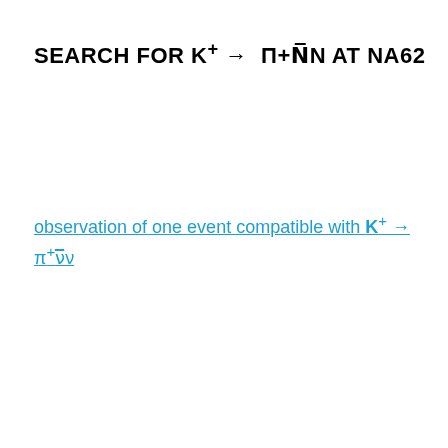SEARCH FOR K+ → π+νν̄ AT NA62
observation of one event compatible with K+ → π+ν̄ν